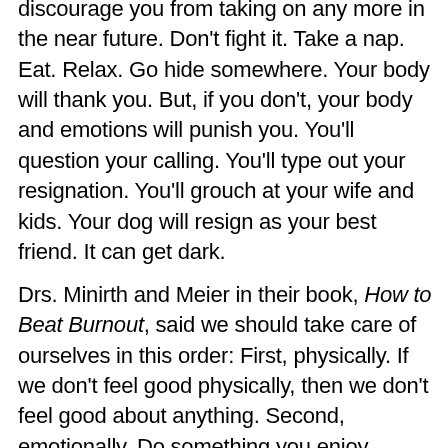discourage you from taking on any more in the near future. Don't fight it. Take a nap. Eat. Relax. Go hide somewhere. Your body will thank you. But, if you don't, your body and emotions will punish you. You'll question your calling. You'll type out your resignation. You'll grouch at your wife and kids. Your dog will resign as your best friend. It can get dark.
Drs. Minirth and Meier in their book, How to Beat Burnout, said we should take care of ourselves in this order: First, physically. If we don't feel good physically, then we don't feel good about anything. Second, emotionally. Do something you enjoy. Watch a comedy. Putter around your house. Veg out. Lastly, spiritually. Don't take on any issue related to your calling, your mission, your effectiveness, and your